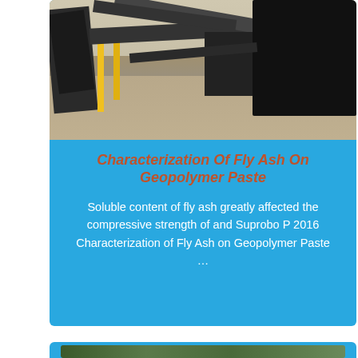[Figure (photo): Industrial factory/conveyor belt facility interior showing heavy machinery, conveyor belts, yellow railings, and a large open floor space]
Characterization Of Fly Ash On Geopolymer Paste
Soluble content of fly ash greatly affected the compressive strength of and Suprobo P 2016 Characterization of Fly Ash on Geopolymer Paste ...
[Figure (photo): Outdoor scene with green vegetation/trees, partially visible at bottom of page]